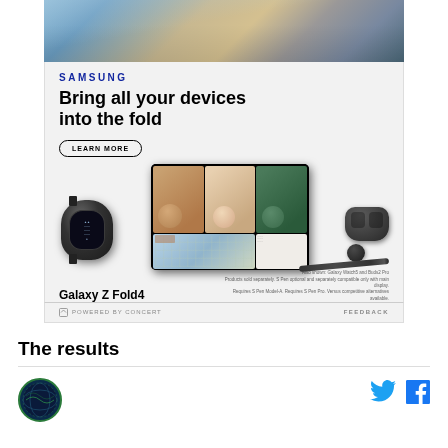[Figure (photo): Samsung Galaxy Z Fold4 advertisement. Top: photo of two people walking. Main ad body on light gray background: Samsung logo, headline 'Bring all your devices into the fold', Learn More button, product images of Galaxy Watch, Galaxy Z Fold4 phone open showing video call, earbuds, and S Pen. Footer text 'Galaxy Z Fold4' and disclaimer. Powered by Concert / Feedback bar.]
The results
[Figure (logo): Circular logo with globe/earth imagery, green border, dark blue background]
[Figure (other): Twitter bird icon in blue and Facebook 'f' icon in blue, social sharing buttons]